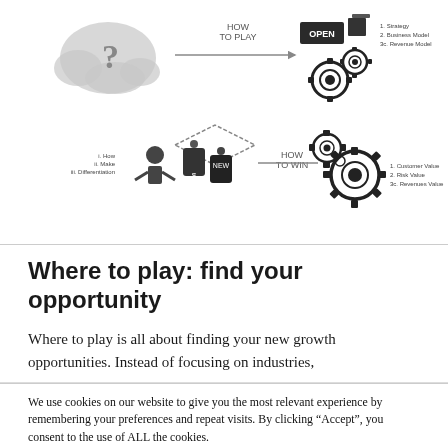[Figure (infographic): A business strategy diagram showing 'How to Play' and 'How to Win' pathways with icons including a question mark cloud, gear icons, an 'OPEN' box, price tag icons, and small text labels for strategy components including Strategy, Business Model, Revenue Model on one side, and Customer Value, Risk Value, Revenues Value on the other.]
Where to play: find your opportunity
Where to play is all about finding your new growth opportunities. Instead of focusing on industries,
We use cookies on our website to give you the most relevant experience by remembering your preferences and repeat visits. By clicking “Accept”, you consent to the use of ALL the cookies.
Do not sell my personal information.
Cookie settings
ACCEPT